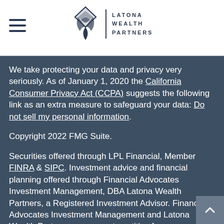[Figure (logo): Latona Wealth Partners logo with diamond/leaf icon and text, plus hamburger menu icon]
We take protecting your data and privacy very seriously. As of January 1, 2020 the California Consumer Privacy Act (CCPA) suggests the following link as an extra measure to safeguard your data: Do not sell my personal information.
Copyright 2022 FMG Suite.
Securities offered through LPL Financial, Member FINRA & SIPC. Investment advice and financial planning offered through Financial Advocates Investment Management, DBA Latona Wealth Partners, a Registered Investment Advisor. Financial Advocates Investment Management and Latona Wealth Partners are separate entities from